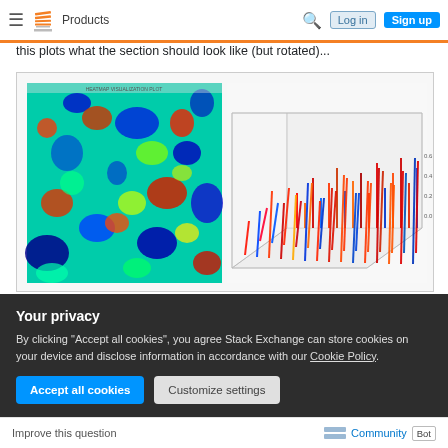Stack Exchange — Products | Log in | Sign up
this plots what the section should look like (but rotated)...
[Figure (other): Two scientific visualizations side by side: left panel shows a 2D heatmap with blue, cyan, green, yellow, and red color patches; right panel shows a 3D surface/waterfall plot with multicolored vertical lines/spikes arranged in a box perspective.]
S...to th... ...mb... Th...d...ll
Your privacy
By clicking "Accept all cookies", you agree Stack Exchange can store cookies on your device and disclose information in accordance with our Cookie Policy.
Accept all cookies
Customize settings
Improve this question    Community  Bot